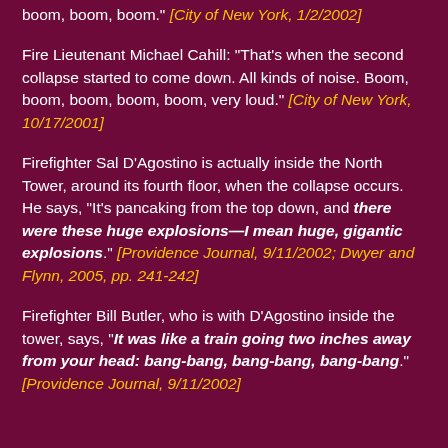boom, boom, boom." [City of New York, 1/2/2002]
Fire Lieutenant Michael Cahill: “That’s when the second collapse started to come down. All kinds of noise. Boom, boom, boom, boom, boom, very loud.” [City of New York, 10/17/2001]
Firefighter Sal D’Agostino is actually inside the North Tower, around its fourth floor, when the collapse occurs. He says, “It’s pancaking from the top down, and there were these huge explosions—I mean huge, gigantic explosions.” [Providence Journal, 9/11/2002; Dwyer and Flynn, 2005, pp. 241-242]
Firefighter Bill Butler, who is with D’Agostino inside the tower, says, “It was like a train going two inches away from your head: bang-bang, bang-bang, bang-bang.” [Providence Journal, 9/11/2002]